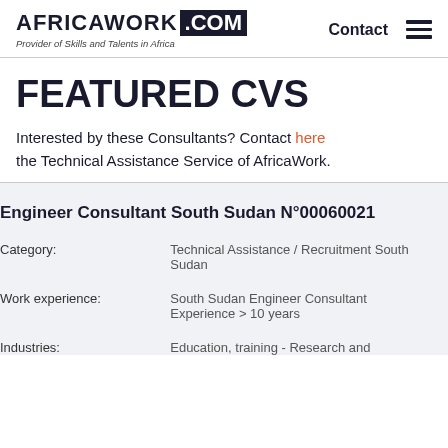AFRICAWORK .COM — Provider of Skills and Talents in Africa — Contact
FEATURED CVS
Interested by these Consultants? Contact here the Technical Assistance Service of AfricaWork.
Engineer Consultant South Sudan N°00060021
| Field | Value |
| --- | --- |
| Category: | Technical Assistance / Recruitment South Sudan |
| Work experience: | South Sudan Engineer Consultant Experience > 10 years |
| Industries: | Education, training - Research and |